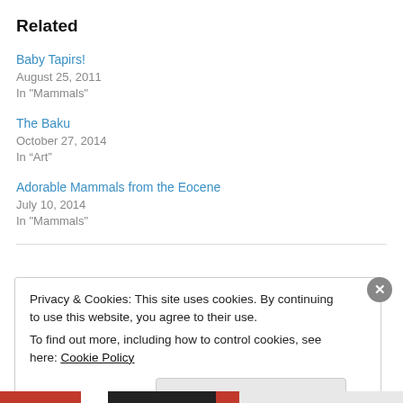Related
Baby Tapirs!
August 25, 2011
In "Mammals"
The Baku
October 27, 2014
In “Art”
Adorable Mammals from the Eocene
July 10, 2014
In "Mammals"
Privacy & Cookies: This site uses cookies. By continuing to use this website, you agree to their use.
To find out more, including how to control cookies, see here: Cookie Policy
Close and accept